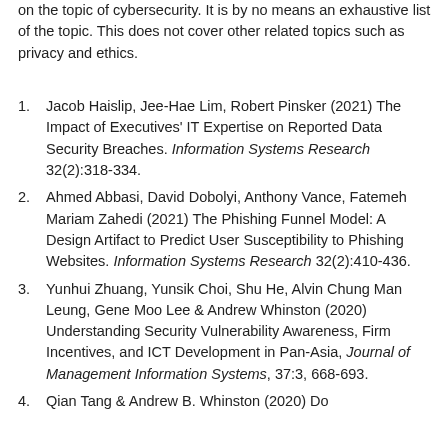on the topic of cybersecurity. It is by no means an exhaustive list of the topic. This does not cover other related topics such as privacy and ethics.
Jacob Haislip, Jee-Hae Lim, Robert Pinsker (2021) The Impact of Executives' IT Expertise on Reported Data Security Breaches. Information Systems Research 32(2):318-334.
Ahmed Abbasi, David Dobolyi, Anthony Vance, Fatemeh Mariam Zahedi (2021) The Phishing Funnel Model: A Design Artifact to Predict User Susceptibility to Phishing Websites. Information Systems Research 32(2):410-436.
Yunhui Zhuang, Yunsik Choi, Shu He, Alvin Chung Man Leung, Gene Moo Lee & Andrew Whinston (2020) Understanding Security Vulnerability Awareness, Firm Incentives, and ICT Development in Pan-Asia, Journal of Management Information Systems, 37:3, 668-693.
Qian Tang & Andrew B. Whinston (2020) Do